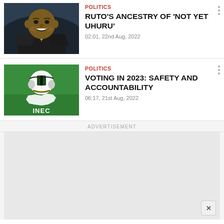[Figure (photo): Man in suit smiling, wearing a yellow tie, appears to be a political figure (Ruto)]
POLITICS
RUTO'S ANCESTRY OF 'NOT YET UHURU'
02:01, 22nd Aug, 2022
[Figure (logo): INEC logo on green background showing Nigerian coat of arms and map of Nigeria with text INEC]
POLITICS
VOTING IN 2023: SAFETY AND ACCOUNTABILITY
06:17, 21st Aug, 2022
ADVERTISEMENT